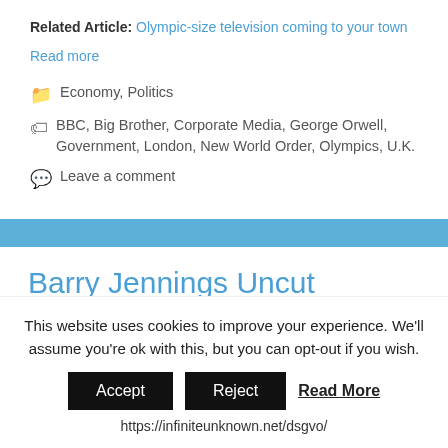Related Article: Olympic-size television coming to your town
Read more
Economy, Politics
BBC, Big Brother, Corporate Media, George Orwell, Government, London, New World Order, Olympics, U.K.
Leave a comment
Barry Jennings Uncut
This website uses cookies to improve your experience. We'll assume you're ok with this, but you can opt-out if you wish.
Accept  Reject  Read More
https://infiniteunknown.net/dsgvo/